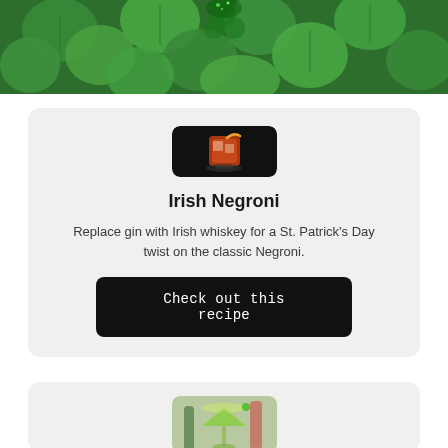[Figure (photo): Top banner photo of green shamrock/clover leaves with a glittery green hat visible at top center]
[Figure (photo): Photo of a Negroni cocktail in a rocks glass with orange peel garnish on a dark background]
Irish Negroni
Replace gin with Irish whiskey for a St. Patrick's Day twist on the classic Negroni.
Check out this recipe
[Figure (photo): Partial photo of a green cocktail in a martini/coupe glass with bottles in background]